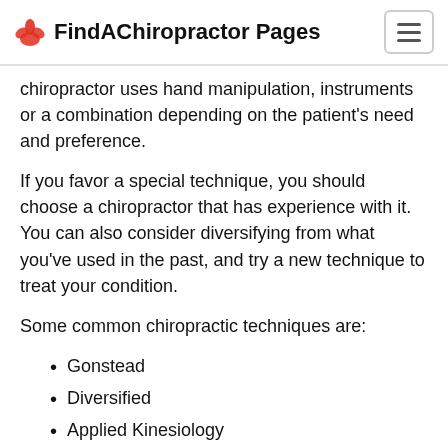FindAChiropractor Pages
chiropractor uses hand manipulation, instruments or a combination depending on the patient's need and preference.
If you favor a special technique, you should choose a chiropractor that has experience with it. You can also consider diversifying from what you've used in the past, and try a new technique to treat your condition.
Some common chiropractic techniques are:
Gonstead
Diversified
Applied Kinesiology